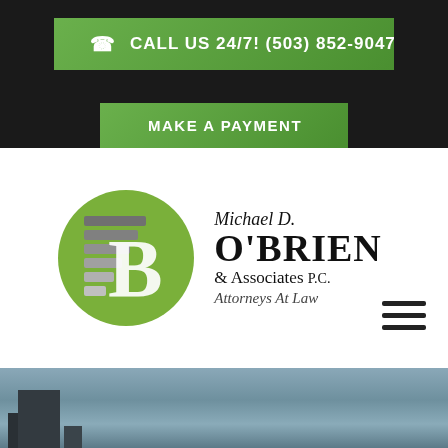CALL US 24/7! (503) 852-9047
MAKE A PAYMENT
[Figure (logo): Michael D. O'Brien & Associates P.C. Attorneys At Law law firm logo with stylized B letterform on green circle background]
[Figure (photo): City skyline photo with buildings against a grey-blue sky]